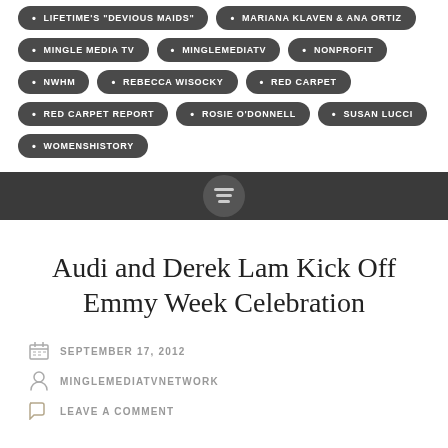LIFETIME'S "DEVIOUS MAIDS"
MARIANA KLAVEN & ANA ORTIZ
MINGLE MEDIA TV
MINGLEMEDIATV
NONPROFIT
NWHM
REBECCA WISOCKY
RED CARPET
RED CARPET REPORT
ROSIE O'DONNELL
SUSAN LUCCI
WOMENSHISTORY
Audi and Derek Lam Kick Off Emmy Week Celebration
SEPTEMBER 17, 2012
MINGLEMEDIATVNETWORK
LEAVE A COMMENT